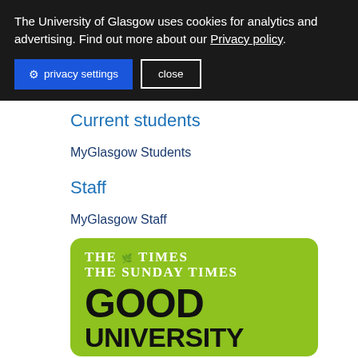The University of Glasgow uses cookies for analytics and advertising. Find out more about our Privacy policy.
privacy settings  close
Current students
MyGlasgow Students
Staff
MyGlasgow Staff
[Figure (logo): The Times and The Sunday Times Good University badge on a green rounded rectangle background, showing 'THE TIMES THE SUNDAY TIMES' in white serif font and 'GOOD UNIVERSITY' in large black bold text below.]